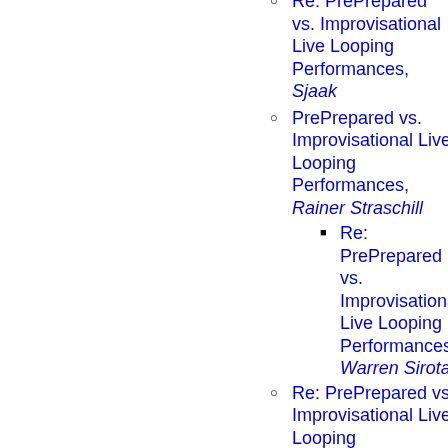Re: PrePrepared vs. Improvisational Live Looping Performances, Sjaak
PrePrepared vs. Improvisational Live Looping Performances, Rainer Straschill
Re: PrePrepared vs. Improvisational Live Looping Performances, Warren Sirota
Re: PrePrepared vs. Improvisational Live Looping Performances, William Walker
Re: PrePrepared vs. Improvisational Live Looping Performances, Mark Sottilaro
Re: PrePrepared